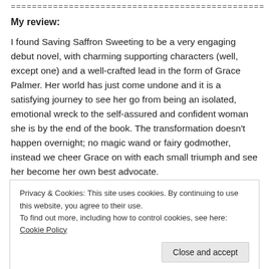================================================
My review:
I found Saving Saffron Sweeting to be a very engaging debut novel, with charming supporting characters (well, except one) and a well-crafted lead in the form of Grace Palmer. Her world has just come undone and it is a satisfying journey to see her go from being an isolated, emotional wreck to the self-assured and confident woman she is by the end of the book. The transformation doesn't happen overnight; no magic wand or fairy godmother, instead we cheer Grace on with each small triumph and see her become her own best advocate.
The charm of the village and its inhabitants is plentiful. Ms
Privacy & Cookies: This site uses cookies. By continuing to use this website, you agree to their use.
To find out more, including how to control cookies, see here: Cookie Policy
Close and accept